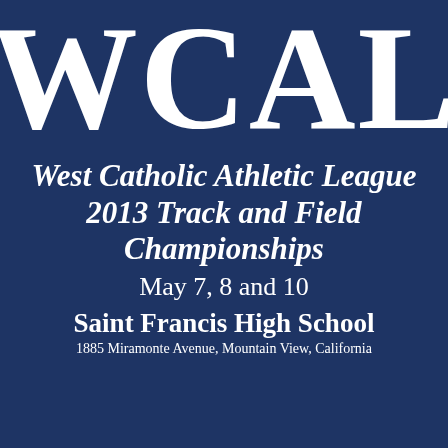WCAL
West Catholic Athletic League 2013 Track and Field Championships
May 7, 8 and 10
Saint Francis High School
1885 Miramonte Avenue, Mountain View, California